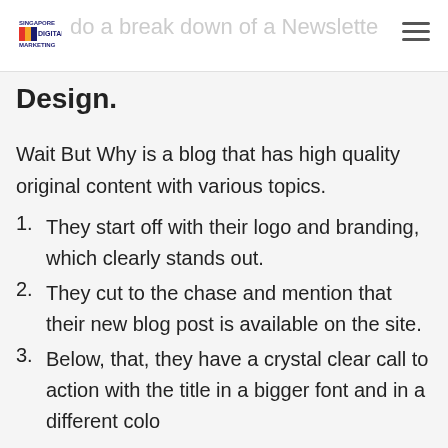do a break down of a Newsletter Design.
Wait But Why is a blog that has high quality original content with various topics.
They start off with their logo and branding, which clearly stands out.
They cut to the chase and mention that their new blog post is available on the site.
Below, that, they have a crystal clear call to action with the title in a bigger font and in a different color